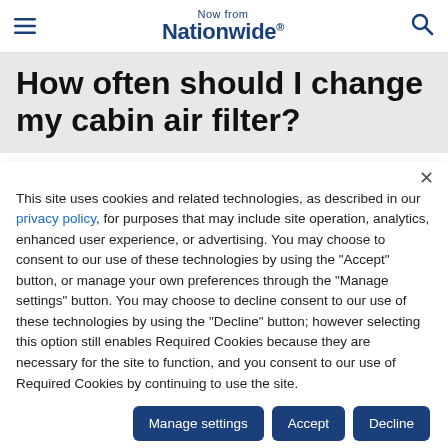Now from Nationwide®
How often should I change my cabin air filter?
This site uses cookies and related technologies, as described in our privacy policy, for purposes that may include site operation, analytics, enhanced user experience, or advertising. You may choose to consent to our use of these technologies by using the "Accept" button, or manage your own preferences through the "Manage settings" button. You may choose to decline consent to our use of these technologies by using the "Decline" button; however selecting this option still enables Required Cookies because they are necessary for the site to function, and you consent to our use of Required Cookies by continuing to use the site.
Manage settings | Accept | Decline